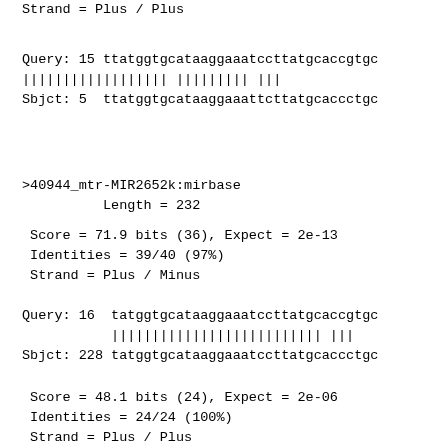Strand = Plus / Plus
Query: 15 ttatggtgcataaggaaatccttatgcaccgtgc
|||||||||||||||||| ||||||||| |||
Sbjct: 5  ttatggtgcataaggaaattcttatgcaccctgc
>40944_mtr-MIR2652k:mirbase
Length = 232
Score = 71.9 bits (36), Expect = 2e-13
Identities = 39/40 (97%)
Strand = Plus / Minus
Query: 16  tatggtgcataaggaaatccttatgcaccgtgc
|||||||||||||||||||||||||| |||
Sbjct: 228 tatggtgcataaggaaatccttatgcaccctgc
Score = 48.1 bits (24), Expect = 2e-06
Identities = 24/24 (100%)
Strand = Plus / Plus